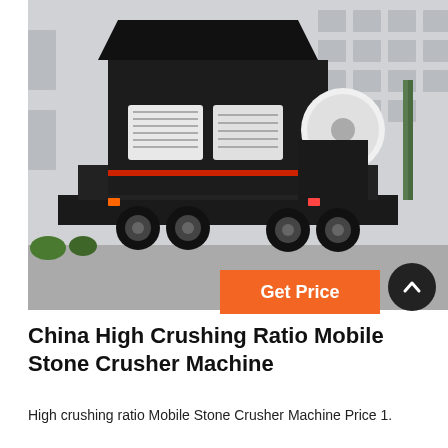[Figure (photo): A large black mobile stone crusher machine mounted on a truck trailer, photographed outdoors in front of a grey industrial warehouse building. The machine has a hopper on top, white side panels with vents, and large rubber tires.]
China High Crushing Ratio Mobile Stone Crusher Machine
High crushing ratio Mobile Stone Crusher Machine Price 1.